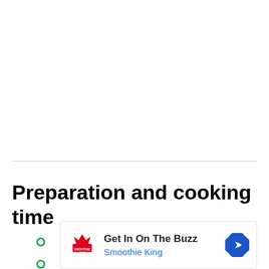Preparation and cooking time
[Figure (other): Advertisement box for Smoothie King with logo, headline 'Get In On The Buzz', subtext 'Smoothie King', and a blue diamond arrow icon. Green circle bullets and a play icon are visible on the left side.]